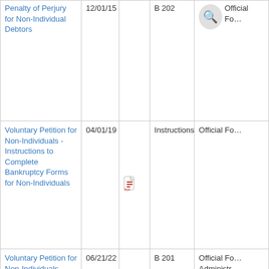| Name | Date | Icons | Form Number | Form Type |
| --- | --- | --- | --- | --- |
| Penalty of Perjury for Non-Individual Debtors | 12/01/15 |  | B 202 | Official Fo… |
| Voluntary Petition for Non-Individuals - Instructions to Complete Bankruptcy Forms for Non-Individuals | 04/01/19 | [pdf icon] | Instructions | Official Fo… |
| Voluntary Petition for Non-Individuals - Voluntary Petition for Non-Individuals Filing for Bankruptcy | 06/21/22 |  | B 201 | Official Fo… Administr… Procedure… |
| Writ of Attachment | 06/04/20 | [pdf icon] [doc icon] | CSD 3056 | Local Form… |